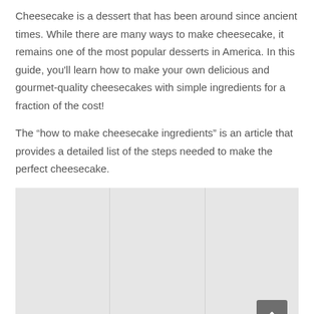Cheesecake is a dessert that has been around since ancient times. While there are many ways to make cheesecake, it remains one of the most popular desserts in America. In this guide, you'll learn how to make your own delicious and gourmet-quality cheesecakes with simple ingredients for a fraction of the cost!
The “how to make cheesecake ingredients” is an article that provides a detailed list of the steps needed to make the perfect cheesecake.
[Figure (photo): A large light grey placeholder image divided into sections by vertical lines, with a dark grey back-to-top arrow button in the bottom right corner.]